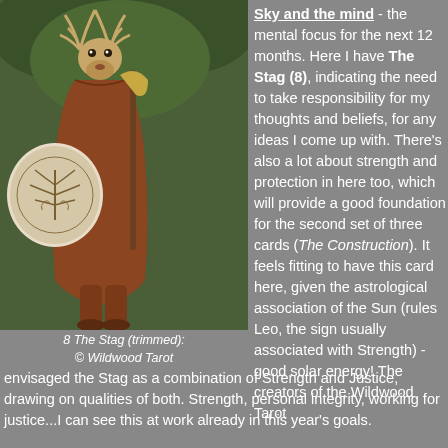[Figure (illustration): Illustration of The Stag (card 8) from the Wildwood Tarot — a stag-headed figure in robes holding an axe and a decorated round shield with Celtic knotwork tree motif, set against a green forest background.]
8 The Stag (trimmed):
© Wildwood Tarot
Sky and the mind - the mental focus for the next 12 months. Here I have The Stag (8), indicating the need to take responsibility for my thoughts and beliefs, for any ideas I come up with. There's also a lot about strength and protection in here too, which will provide a good foundation for the second set of three cards (The Construction). It feels fitting to have this card here, given the astrological association of the Sun (rules Leo, the sign usually associated with Strength) - good solar energy!  The creators of the Wildwood Tarot envisaged the Stag as a combination of Strength and Justice, drawing on qualities of both. Strength, personal integrity, working for justice...I can see this at work already in this year's goals.